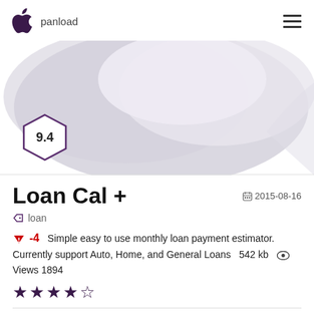panload
[Figure (illustration): App screenshot banner with blurred/abstract purple-gray shapes and a hexagonal score badge showing 9.4]
Loan Cal +
2015-08-16
loan
-4   Simple easy to use monthly loan payment estimator. Currently support Auto, Home, and General Loans   542 kb   Views 1894
★★★★☆